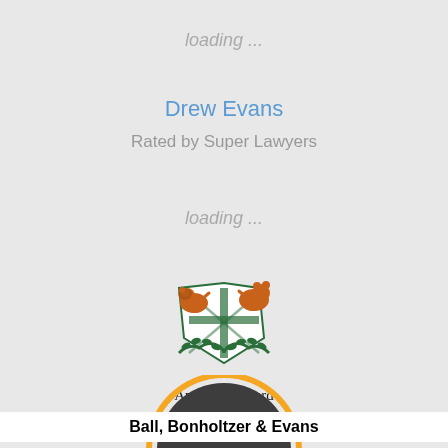loading ...
Drew Evans
Rated by Super Lawyers
loading ...
[Figure (logo): American Board of Trial Advocates crest logo with two heraldic animals (lion and bear) flanking a shield, with green laurel branches below, and the text 'American Board of Trial Advocates' beneath]
[Figure (logo): FindLaw badge - dark grey semicircle with orange FindLaw wordmark and yellow border arc]
Ball, Bonholtzer & Evans